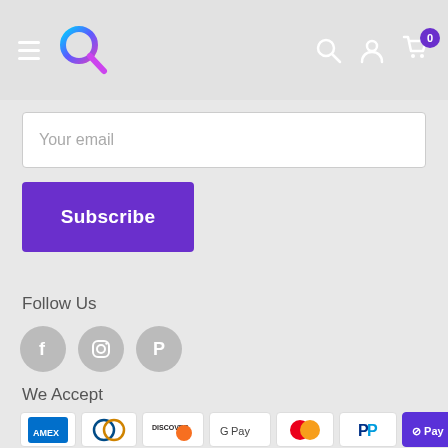Navigation bar with hamburger menu, Q logo, search, account, and cart (0) icons
Your email
Subscribe
Follow Us
[Figure (illustration): Three circular social media icons: Facebook (f), Instagram (camera), Pinterest (P)]
We Accept
[Figure (illustration): Payment method icons: AMEX, Diners Club, Discover, Google Pay, Mastercard, PayPal, Shop Pay (O Pay), Visa]